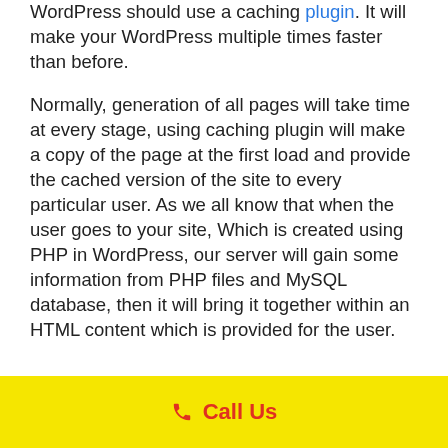WordPress should use a caching plugin. It will make your WordPress multiple times faster than before.
Normally, generation of all pages will take time at every stage, using caching plugin will make a copy of the page at the first load and provide the cached version of the site to every particular user. As we all know that when the user goes to your site, Which is created using PHP in WordPress, our server will gain some information from PHP files and MySQL database, then it will bring it together within an HTML content which is provided for the user.
📞 Call Us